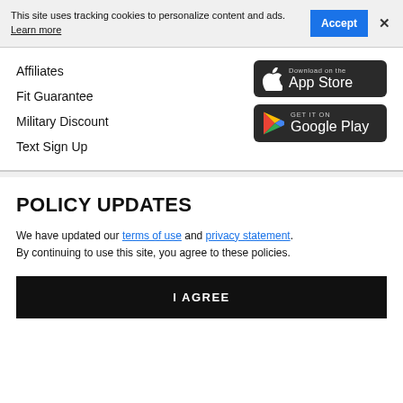This site uses tracking cookies to personalize content and ads. Learn more
Affiliates
Fit Guarantee
Military Discount
Text Sign Up
[Figure (other): Download on the App Store badge (dark background, Apple logo)]
[Figure (other): GET IT ON Google Play badge (dark background, Google Play triangle logo)]
POLICY UPDATES
We have updated our terms of use and privacy statement. By continuing to use this site, you agree to these policies.
I AGREE